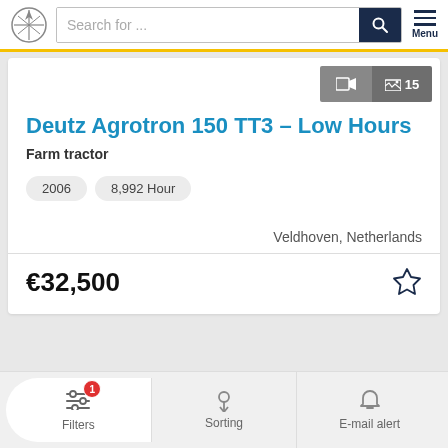Search for ...
Deutz Agrotron 150 TT3 – Low Hours
Farm tractor
2006
8,992 Hour
Veldhoven, Netherlands
€32,500
Filters  Sorting  E-mail alert